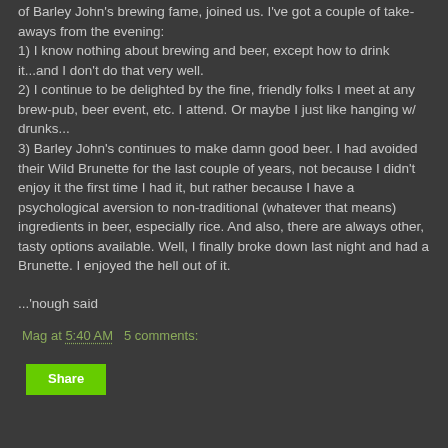of Barley John's brewing fame, joined us. I've got a couple of take-aways from the evening:
1) I know nothing about brewing and beer, except how to drink it...and I don't do that very well.
2) I continue to be delighted by the fine, friendly folks I meet at any brew-pub, beer event, etc. I attend. Or maybe I just like hanging w/ drunks...
3) Barley John's continues to make damn good beer. I had avoided their Wild Brunette for the last couple of years, not because I didn't enjoy it the first time I had it, but rather because I have a psychological aversion to non-traditional (whatever that means) ingredients in beer, especially rice. And also, there are always other, tasty options available. Well, I finally broke down last night and had a Brunette. I enjoyed the hell out of it.
...'nough said
Mag at 5:40 AM   5 comments:
Share